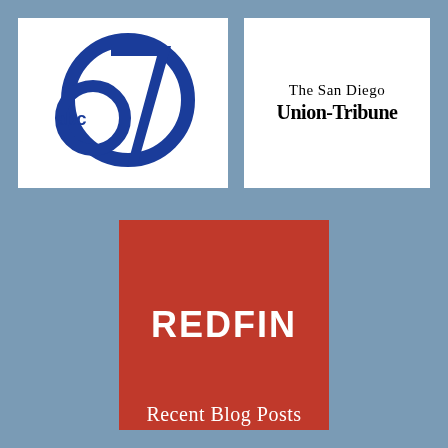[Figure (logo): ABC7 logo — blue circular design with 'abc' text and a '7' numeral in blue on white background]
[Figure (logo): The San Diego Union-Tribune logo — black serif text on white background]
[Figure (logo): Redfin logo — white bold uppercase REDFIN text on red square background]
Recent Blog Posts